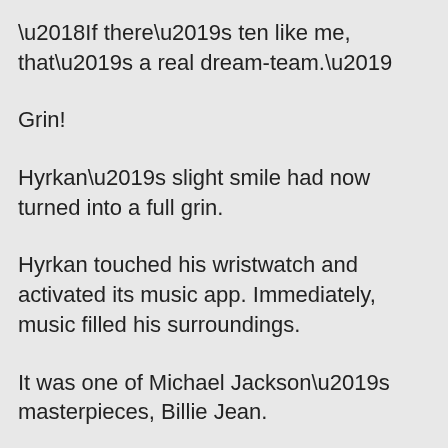‘If there’s ten like me, that’s a real dream-team.’
Grin!
Hyrkan’s slight smile had now turned into a full grin.
Hyrkan touched his wristwatch and activated its music app. Immediately, music filled his surroundings.
It was one of Michael Jackson’s masterpieces, Billie Jean.
“Alright, it’s time to dance.”